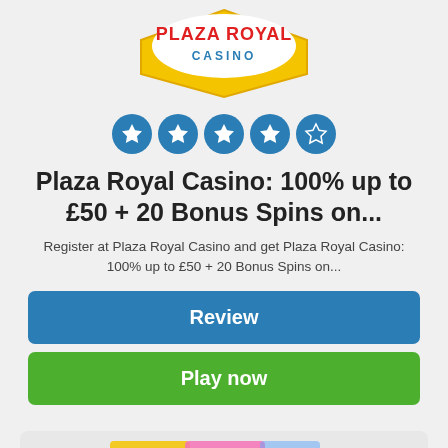[Figure (logo): Plaza Royal Casino logo — yellow diamond/shield shape with red text PLAZA ROYAL and blue text CASINO]
[Figure (infographic): Five star rating circles: 4 filled blue stars and 1 empty/outline blue star]
Plaza Royal Casino: 100% up to £50 + 20 Bonus Spins on...
Register at Plaza Royal Casino and get Plaza Royal Casino: 100% up to £50 + 20 Bonus Spins on...
Review
Play now
[Figure (logo): Duelz Casino logo — red ribbon/banner style with white 3D text Duelz and partial text casino below, with colorful confetti behind]